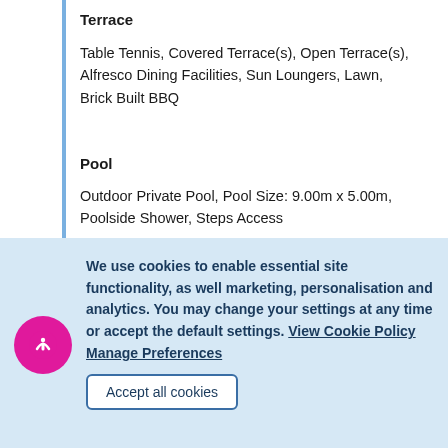Terrace
Table Tennis, Covered Terrace(s), Open Terrace(s), Alfresco Dining Facilities, Sun Loungers, Lawn, Brick Built BBQ
Pool
Outdoor Private Pool, Pool Size: 9.00m x 5.00m, Poolside Shower, Steps Access
Mobility Statement
To access the villa there is a path which is 500cm
We use cookies to enable essential site functionality, as well marketing, personalisation and analytics. You may change your settings at any time or accept the default settings. View Cookie Policy   Manage Preferences
Accept all cookies